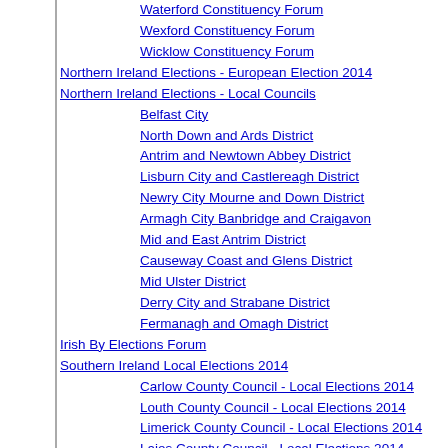Waterford Constituency Forum
Wexford Constituency Forum
Wicklow Constituency Forum
Northern Ireland Elections - European Election 2014
Northern Ireland Elections - Local Councils
Belfast City
North Down and Ards District
Antrim and Newtown Abbey District
Lisburn City and Castlereagh District
Newry City Mourne and Down District
Armagh City Banbridge and Craigavon
Mid and East Antrim District
Causeway Coast and Glens District
Mid Ulster District
Derry City and Strabane District
Fermanagh and Omagh District
Irish By Elections Forum
Southern Ireland Local Elections 2014
Carlow County Council - Local Elections 2014
Louth County Council - Local Elections 2014
Limerick County Council - Local Elections 2014
Laios County Council - Local Elections 2014
Kilkenny County Council - Local Elections 2014
Kildare County Council - Local Elections 2014